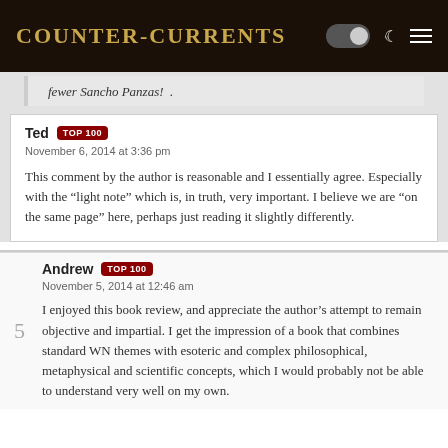Counter-Currents
fewer Sancho Panzas! .
Ted  TOP 100
November 6, 2014 at 3:36 pm

This comment by the author is reasonable and I essentially agree. Especially with the “light note” which is, in truth, very important. I believe we are “on the same page” here, perhaps just reading it slightly differently.
Andrew  TOP 100
November 5, 2014 at 12:46 am

I enjoyed this book review, and appreciate the author’s attempt to remain objective and impartial. I get the impression of a book that combines standard WN themes with esoteric and complex philosophical, metaphysical and scientific concepts, which I would probably not be able to understand very well on my own.